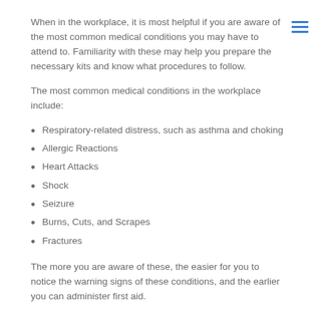When in the workplace, it is most helpful if you are aware of the most common medical conditions you may have to attend to. Familiarity with these may help you prepare the necessary kits and know what procedures to follow.
The most common medical conditions in the workplace include:
Respiratory-related distress, such as asthma and choking
Allergic Reactions
Heart Attacks
Shock
Seizure
Burns, Cuts, and Scrapes
Fractures
The more you are aware of these, the easier for you to notice the warning signs of these conditions, and the earlier you can administer first aid.
5. Always Protect Yourself